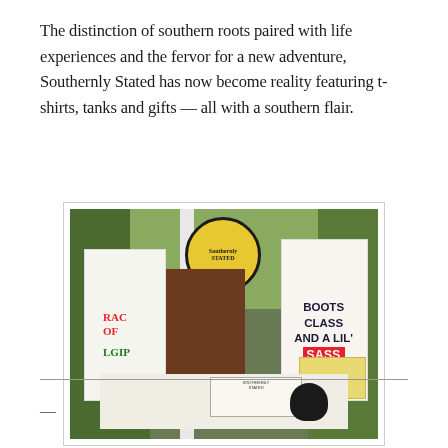The distinction of southern roots paired with life experiences and the fervor for a new adventure, Southernly Stated has now become reality featuring t-shirts, tanks and gifts — all with a southern flair.
[Figure (photo): Outdoor market booth for Southernly Stated brand showing t-shirts and tank tops on display. A white tank top on the right reads 'BOOTS CLASS AND A LIL SASS' and a t-shirt on the left has red and green text partially visible. A yellow circular logo sign for Southernly Stated hangs at the top. Items are displayed on a wooden structure with trees in the background.]
—